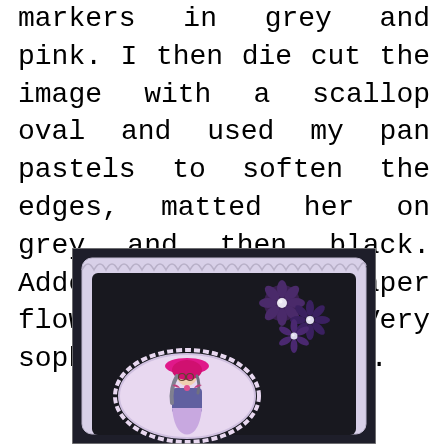markers in grey and pink. I then die cut the image with a scallop oval and used my pan pastels to soften the edges, matted her on grey and then black. Added a bow and paper flowers and pearls. Very sophisticated I think.
[Figure (photo): A handmade greeting card featuring a woman stamp image with a bright pink wide-brimmed hat and grey hair, mounted on a scalloped oval with lavender/pink pan pastel shading, matted on a black card background. Dark purple paper flowers with pearl centers are arranged in the top right corner of the card.]